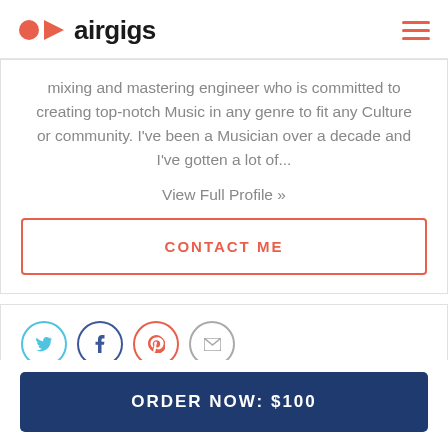airgigs
mixing and mastering engineer who is committed to creating top-notch Music in any genre to fit any Culture or community. I've been a Musician over a decade and I've gotten a lot of...
View Full Profile »
CONTACT ME
[Figure (other): Social share icons: Twitter, Facebook, Pinterest, Email — circular outline buttons]
ORDER NOW: $100